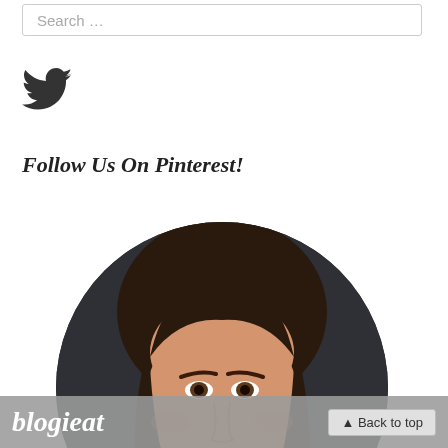Search ...
[Figure (logo): Twitter bird icon in dark gray/black]
Follow Us On Pinterest!
[Figure (photo): Circular cropped portrait photo of a woman with dark brown hair, wearing dark clothing, photographed against a dark gray background. Photo is cropped to show face and upper shoulders.]
blogieat   ▲ Back to top